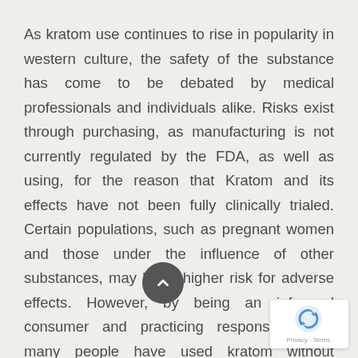As kratom use continues to rise in popularity in western culture, the safety of the substance has come to be debated by medical professionals and individuals alike. Risks exist through purchasing, as manufacturing is not currently regulated by the FDA, as well as using, for the reason that Kratom and its effects have not been fully clinically trialed. Certain populations, such as pregnant women and those under the influence of other substances, may be at higher risk for adverse effects. However, by being an informed consumer and practicing responsible use, many people have used kratom without incident, and have experienced benefits.